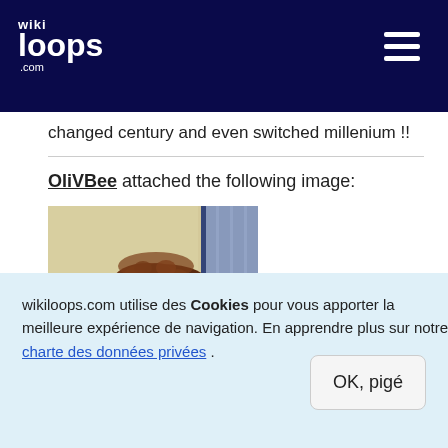wikiloops.com
changed century and even switched millenium !!
OliVBee attached the following image:
[Figure (photo): A blurry indoor photo showing what appears to be a person's head with curly hair near a curtained window]
wikiloops.com utilise des Cookies pour vous apporter la meilleure expérience de navigation. En apprendre plus sur notre charte des données privées .